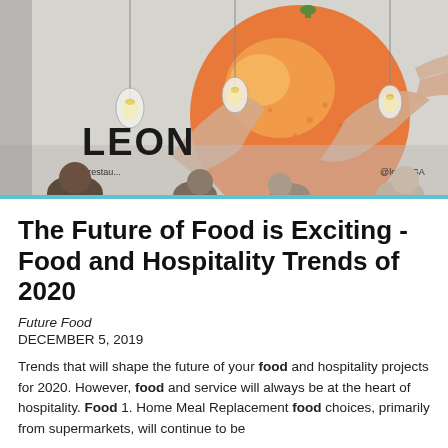[Figure (photo): Interior photo of LEON restaurant showing a large mural of hands holding an orange on the wall, pendant light bulbs hanging from the ceiling, and people seated in the foreground. Text on wall reads 'LEON' with social media handles @leonrestau and @leonUSA.]
The Future of Food is Exciting - Food and Hospitality Trends of 2020
Future Food
DECEMBER 5, 2019
Trends that will shape the future of your food and hospitality projects for 2020. However, food and service will always be at the heart of hospitality. Food 1. Home Meal Replacement food choices, primarily from supermarkets, will continue to be